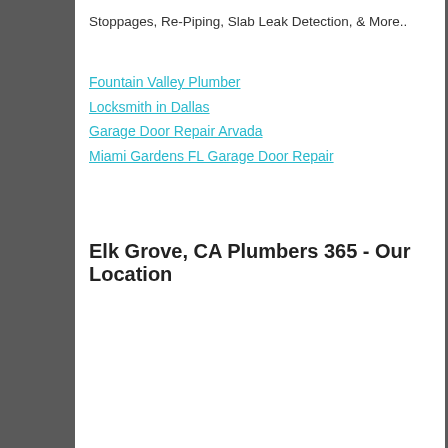Stoppages, Re-Piping, Slab Leak Detection, & More..
Fountain Valley Plumber
Locksmith in Dallas
Garage Door Repair Arvada
Miami Gardens FL Garage Door Repair
Elk Grove, CA Plumbers 365 - Our Location